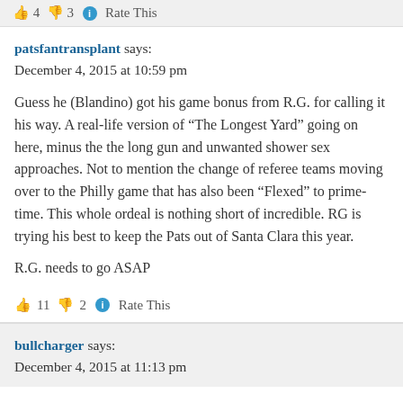4  3  Rate This
patsfantransplant says:
December 4, 2015 at 10:59 pm
Guess he (Blandino) got his game bonus from R.G. for calling it his way. A real-life version of “The Longest Yard” going on here, minus the the long gun and unwanted shower sex approaches. Not to mention the change of referee teams moving over to the Philly game that has also been “Flexed” to prime-time. This whole ordeal is nothing short of incredible. RG is trying his best to keep the Pats out of Santa Clara this year.

R.G. needs to go ASAP
11  2  Rate This
bullcharger says:
December 4, 2015 at 11:13 pm